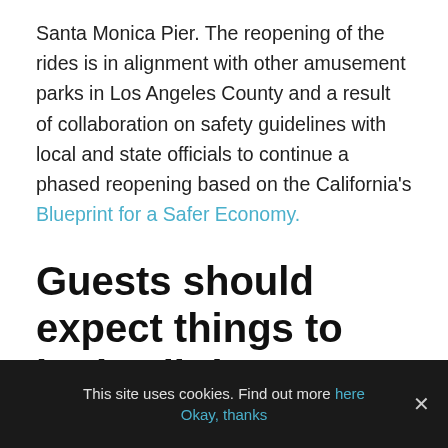Santa Monica Pier. The reopening of the rides is in alignment with other amusement parks in Los Angeles County and a result of collaboration on safety guidelines with local and state officials to continue a phased reopening based on the California's Blueprint for a Safer Economy.
Guests should expect things to look a little different on their next
This site uses cookies. Find out more here
Okay, thanks